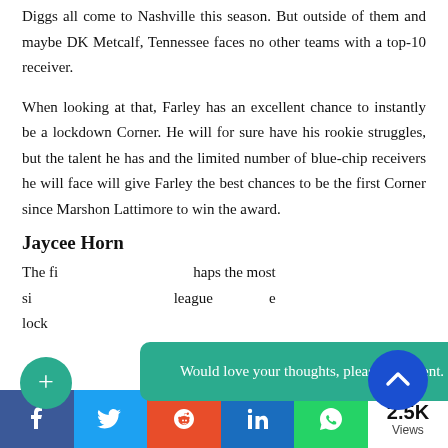Diggs all come to Nashville this season. But outside of them and maybe DK Metcalf, Tennessee faces no other teams with a top-10 receiver.
When looking at that, Farley has an excellent chance to instantly be a lockdown Corner. He will for sure have his rookie struggles, but the talent he has and the limited number of blue-chip receivers he will face will give Farley the best chances to be the first Corner since Marshon Lattimore to win the award.
Jaycee Horn
The fi... haps the most si... league he lock...
[Figure (infographic): Tooltip overlay: 'Would love your thoughts, please comment.' with X close button on teal background]
[Figure (infographic): Green plus button circle on left side]
[Figure (infographic): Blue scroll-to-top arrow button circle on right side]
[Figure (infographic): Social sharing bar at bottom with Facebook, Twitter, Reddit, LinkedIn, WhatsApp buttons and 2.5K Views counter]